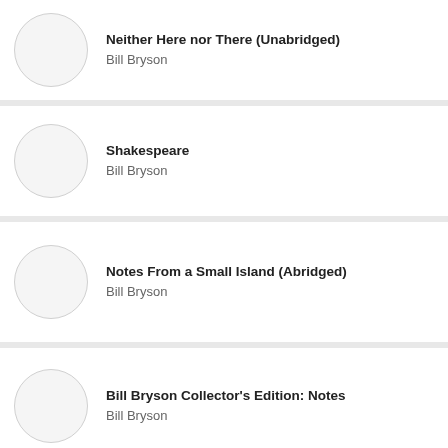Neither Here nor There (Unabridged) — Bill Bryson
Shakespeare — Bill Bryson
Notes From a Small Island (Abridged) — Bill Bryson
Bill Bryson Collector's Edition: Notes — Bill Bryson
I'm a Stranger Here Myself: Notes on